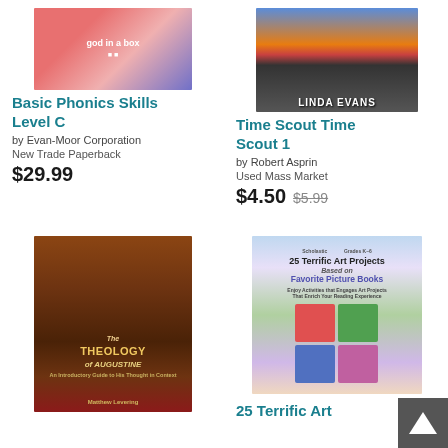[Figure (photo): Book cover for Basic Phonics Skills Level C - colorful educational book cover]
Basic Phonics Skills Level C
by Evan-Moor Corporation
New Trade Paperback
$29.99
[Figure (photo): Book cover for Time Scout Time Scout 1 - shows Linda Evans text on cover]
Time Scout Time Scout 1
by Robert Asprin
Used Mass Market
$4.50  $5.99
[Figure (photo): Book cover for The Theology of Augustine by Matthew Levering - shows a bishop figure]
[Figure (photo): Book cover for 25 Terrific Art Projects Based on Favorite Picture Books]
25 Terrific Art